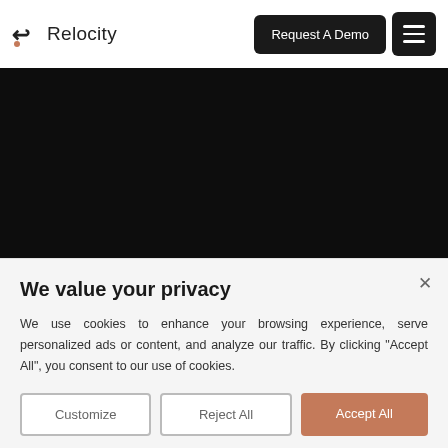Relocity
[Figure (screenshot): Dark hero/banner area of the Relocity website, showing a mostly black background region below the navigation bar.]
We value your privacy
We use cookies to enhance your browsing experience, serve personalized ads or content, and analyze our traffic. By clicking "Accept All", you consent to our use of cookies.
Customize | Reject All | Accept All